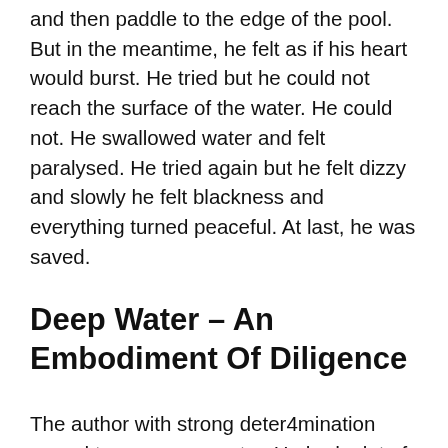and then paddle to the edge of the pool. But in the meantime, he felt as if his heart would burst. He tried but he could not reach the surface of the water. He could not. He swallowed water and felt paralysed. He tried again but he felt dizzy and slowly he felt blackness and everything turned peaceful. At last, he was saved.
Deep Water – An Embodiment Of Diligence
The author with strong deter4mination vowed to overcome water. He had a lot of hindrances to do so. He got his fear coming back every now and then. He took the aid of an instructor who taught him in steps and brought back his confidence and courage. He